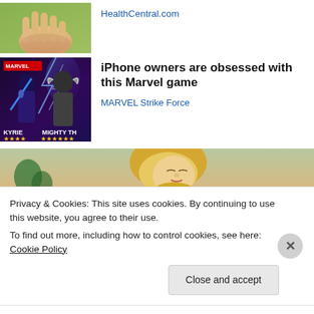[Figure (photo): Close-up of open hand/palm against green background]
HealthCentral.com
[Figure (photo): Marvel Strike Force game promotional image with characters KYRIE and MIGHTY THOR with star ratings]
iPhone owners are obsessed with this Marvel game
MARVEL Strike Force
[Figure (photo): Blonde woman looking down, blurred background with plants]
Privacy & Cookies: This site uses cookies. By continuing to use this website, you agree to their use.
To find out more, including how to control cookies, see here: Cookie Policy
Close and accept